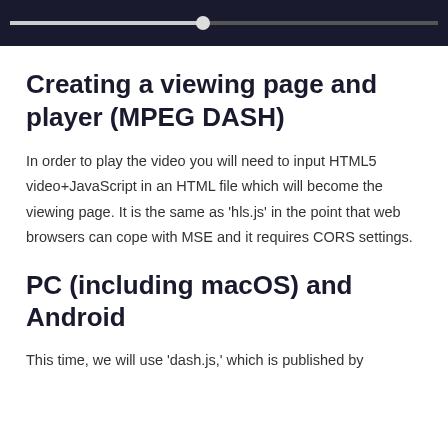[Figure (screenshot): Video player progress bar on dark background, showing a scrubber/thumb at approximately 45% position on a gray track.]
Creating a viewing page and player (MPEG DASH)
In order to play the video you will need to input HTML5 video+JavaScript in an HTML file which will become the viewing page. It is the same as 'hls.js' in the point that web browsers can cope with MSE and it requires CORS settings.
PC (including macOS) and Android
This time, we will use 'dash.js,' which is published by